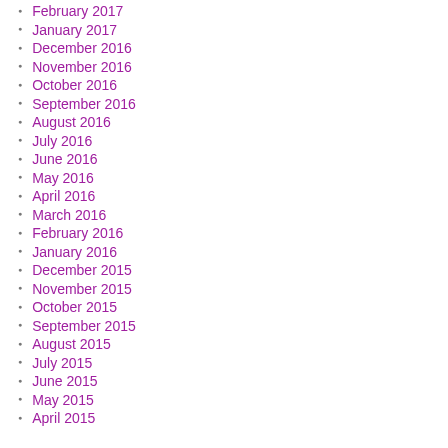February 2017
January 2017
December 2016
November 2016
October 2016
September 2016
August 2016
July 2016
June 2016
May 2016
April 2016
March 2016
February 2016
January 2016
December 2015
November 2015
October 2015
September 2015
August 2015
July 2015
June 2015
May 2015
April 2015